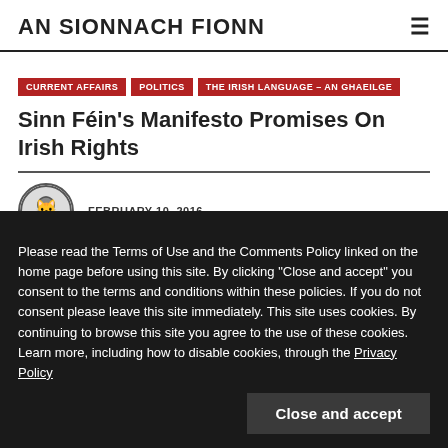AN SIONNACH FIONN
CURRENT AFFAIRS
POLITICS
THE IRISH LANGUAGE – AN GHAEILGE
Sinn Féin's Manifesto Promises On Irish Rights
FEBRUARY 10, 2016
Please read the Terms of Use and the Comments Policy linked on the home page before using this site. By clicking "Close and accept" you consent to the terms and conditions within these policies. If you do not consent please leave this site immediately. This site uses cookies. By continuing to browse this site you agree to the use of these cookies. Learn more, including how to disable cookies, through the Privacy Policy